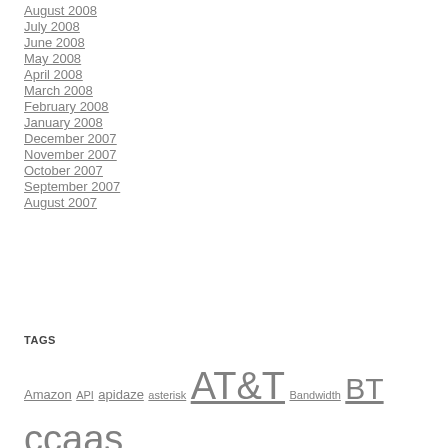August 2008
July 2008
June 2008
May 2008
April 2008
March 2008
February 2008
January 2008
December 2007
November 2007
October 2007
September 2007
August 2007
TAGS
Amazon API apidaze asterisk AT&T Bandwidth BT ccaas Cisco cPaaS Ericsson Facebook Google hSenid Mobile